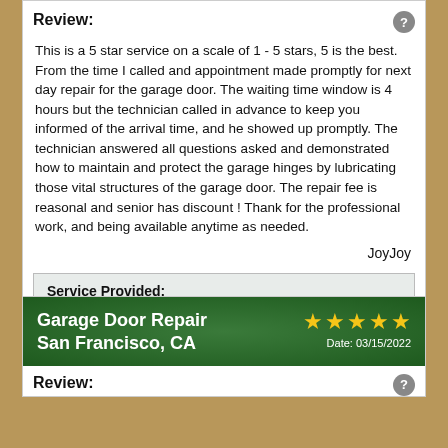Review:
This is a 5 star service on a scale of 1 - 5 stars, 5 is the best. From the time I called and appointment made promptly for next day repair for the garage door. The waiting time window is 4 hours but the technician called in advance to keep you informed of the arrival time, and he showed up promptly. The technician answered all questions asked and demonstrated how to maintain and protect the garage hinges by lubricating those vital structures of the garage door. The repair fee is reasonal and senior has discount ! Thank for the professional work, and being available anytime as needed.
JoyJoy
| Service Provided: |
| --- |
| Garage Door Repair |
Garage Door Repair
San Francisco, CA
Date: 03/15/2022
Review: